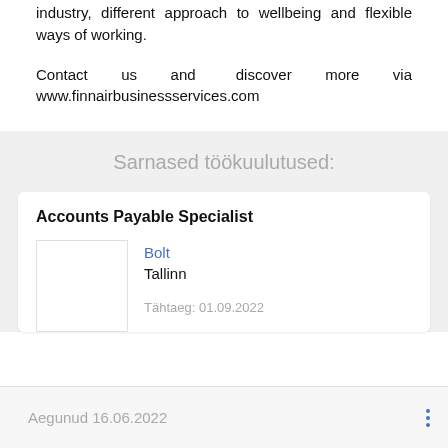industry, different approach to wellbeing and flexible ways of working.
Contact us and discover more via www.finnairbusinessservices.com
Sarnased töökuulutused:
Accounts Payable Specialist
Bolt
Tallinn
Tähtaeg: 01.09.2022
Aegunud 16.06.2022